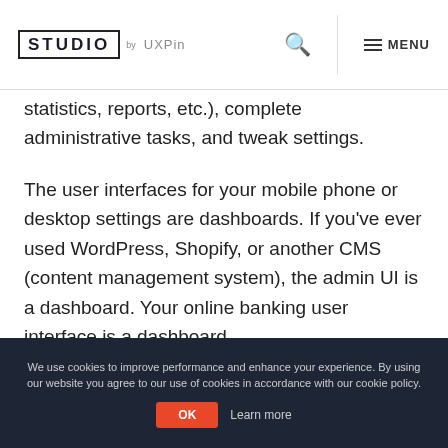STUDIO by UXPin
statistics, reports, etc.), complete administrative tasks, and tweak settings.
The user interfaces for your mobile phone or desktop settings are dashboards. If you’ve ever used WordPress, Shopify, or another CMS (content management system), the admin UI is a dashboard. Your online banking user interface is a dashboard.
Dashboard Types
We use cookies to improve performance and enhance your experience. By using our website you agree to our use of cookies in accordance with our cookie policy.